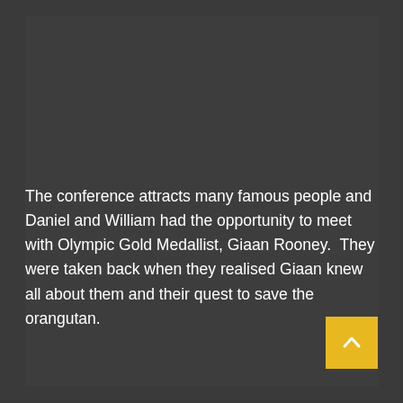The conference attracts many famous people and Daniel and William had the opportunity to meet with Olympic Gold Medallist, Giaan Rooney.  They were taken back when they realised Giaan knew all about them and their quest to save the orangutan.